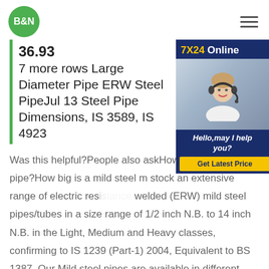B&N
36.93
7 more rows Large Diameter Pipe ERW Steel PipeJul 13 Steel Pipe Dimensions, IS 3589, IS 4923
[Figure (photo): Customer support agent with headset smiling, with overlay ad showing 7X24 Online, Hello may I help you?, and Get Latest Price button on dark navy background]
Was this helpful?People also askHow to steel ms pipe?How big is a mild steel m stock an extensive range of electric resistance welded (ERW) mild steel pipes/tubes in a size range of 1/2 inch N.B. to 14 inch N.B. in the Light, Medium and Heavy classes, confirming to IS 1239 (Part-1) 2004, Equivalent to BS 1387. Our Mild steel pipes are available in different sizes, shapes, and